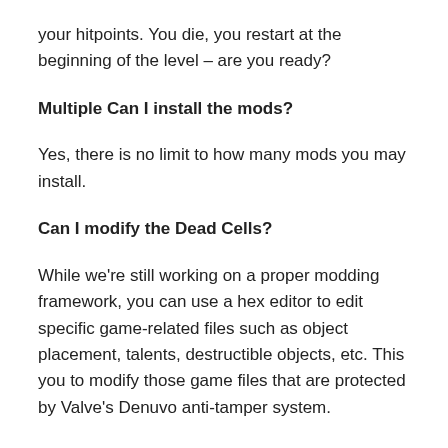your hitpoints. You die, you restart at the beginning of the level – are you ready?
Multiple Can I install the mods?
Yes, there is no limit to how many mods you may install.
Can I modify the Dead Cells?
While we're still working on a proper modding framework, you can use a hex editor to edit specific game-related files such as object placement, talents, destructible objects, etc. This you to modify those game files that are protected by Valve's Denuvo anti-tamper system.